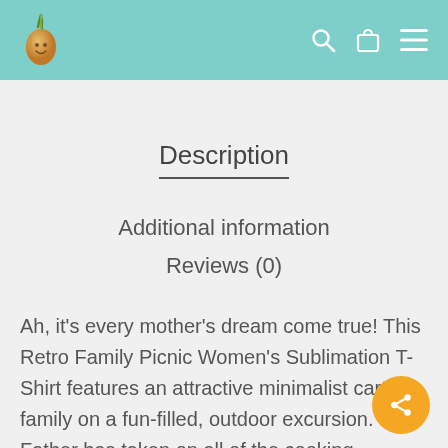Description
Additional information
Reviews (0)
Ah, it's every mother's dream come true! This Retro Family Picnic Women's Sublimation T-Shirt features an attractive minimalist cartoon family on a fun-filled, outdoor excursion. Father has taken on all of the cooking responsibilities, so that Mother can relax. He